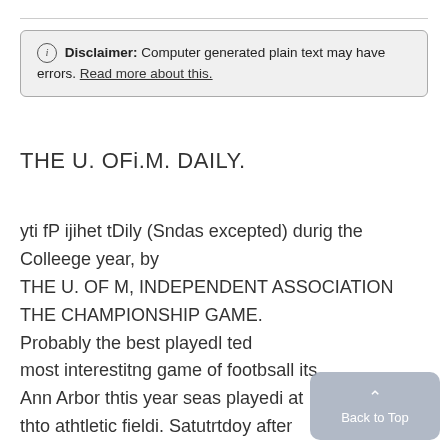ⓘ Disclaimer: Computer generated plain text may have errors. Read more about this.
THE U. OFi.M. DAILY.
yti fP ijihet tDily (Sndas excepted) durig the Colleege year, by THE U. OF M, INDEPENDENT ASSOCIATION THE CHAMPIONSHIP GAME. Probably the best playedl ted most interestitng game of footbsall its Ann Arbor thtis year seas playedi at thto athtletic fieldi. Satutrtdoy after